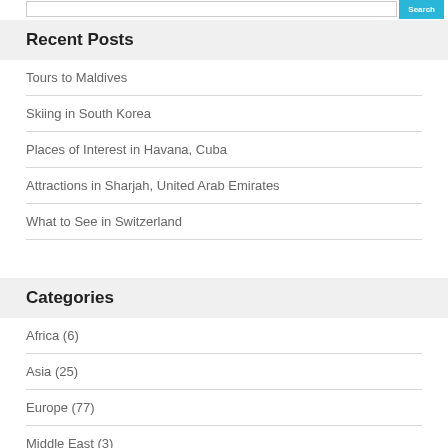Recent Posts
Tours to Maldives
Skiing in South Korea
Places of Interest in Havana, Cuba
Attractions in Sharjah, United Arab Emirates
What to See in Switzerland
Categories
Africa (6)
Asia (25)
Europe (77)
Middle East (3)